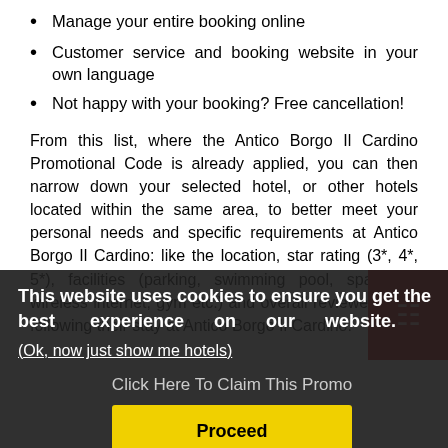Manage your entire booking online
Customer service and booking website in your own language
Not happy with your booking? Free cancellation!
From this list, where the Antico Borgo Il Cardino Promotional Code is already applied, you can then narrow down your selected hotel, or other hotels located within the same area, to better meet your personal needs and specific requirements at Antico Borgo Il Cardino: like the location, star rating (3*, 4*, 5*), facilities (parking, swimming pool, spa, free wireless internet, gym etc.) and overall reviewer score following their stay at Antico Borgo Il Cardino.
This website uses cookies to ensure you get the best experience on our website.
(Ok, now just show me hotels)
Click Here To Claim This Promo
Proceed
Nowadays people travel hundreds or even thousands of miles away from their homes. Whether you're traveling for